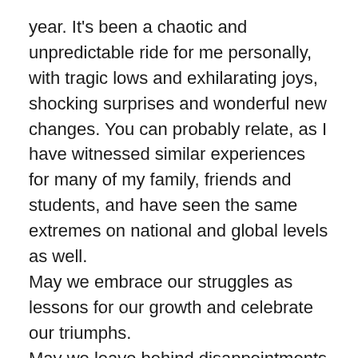year. It's been a chaotic and unpredictable ride for me personally, with tragic lows and exhilarating joys, shocking surprises and wonderful new changes. You can probably relate, as I have witnessed similar experiences for many of my family, friends and students, and have seen the same extremes on national and global levels as well. May we embrace our struggles as lessons for our growth and celebrate our triumphs. May we leave behind disappointments as ashes from the past and embrace the blessings as we rise like the Phoenix, and soar forward into this New Year with gratitude and grace!
January 2017